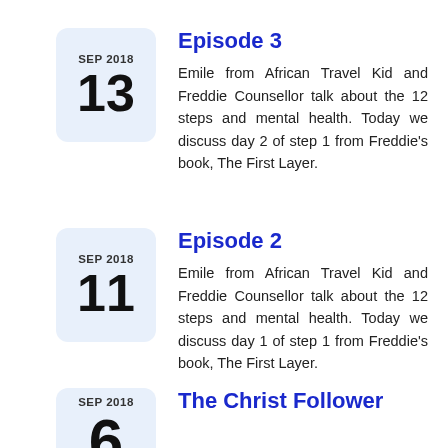Episode 3
Emile from African Travel Kid and Freddie Counsellor talk about the 12 steps and mental health. Today we discuss day 2 of step 1 from Freddie's book, The First Layer.
Episode 2
Emile from African Travel Kid and Freddie Counsellor talk about the 12 steps and mental health. Today we discuss day 1 of step 1 from Freddie's book, The First Layer.
The Christ Follower